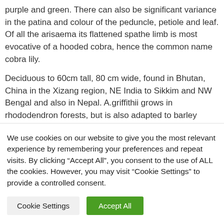purple and green. There can also be significant variance in the patina and colour of the peduncle, petiole and leaf. Of all the arisaema its flattened spathe limb is most evocative of a hooded cobra, hence the common name cobra lily.
Deciduous to 60cm tall, 80 cm wide, found in Bhutan, China in the Xizang region, NE India to Sikkim and NW Bengal and also in Nepal. A.griffithii grows in rhododendron forests, but is also adapted to barley sheltered direct sun in open scrub and alpine meadows. 2400 – 3900m.
We use cookies on our website to give you the most relevant experience by remembering your preferences and repeat visits. By clicking "Accept All", you consent to the use of ALL the cookies. However, you may visit "Cookie Settings" to provide a controlled consent.